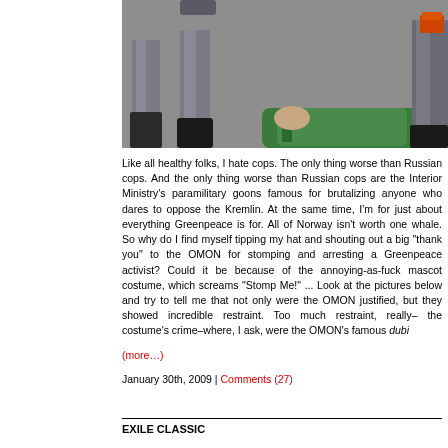[Figure (photo): Photo of police officers in gray uniforms standing over a person in a green jacket who is on the ground, with another officer visible at right.]
Like all healthy folks, I hate cops. The only thing worse than cops are Russian cops. And the only thing worse than Russian cops are the Interior Ministry's paramilitary goons famous for brutalizing anyone who dares to oppose the Kremlin. At the same time, I'm for just about everything Greenpeace is for. All of Norway isn't worth one whale. So why do I find myself tipping my hat and shouting out a big "thank you" to the OMON for stomping and arresting a Greenpeace activist? Could it be because of the annoying-as-fuck mascot costume, which screams "Stomp Me!" ... Look at the pictures below and try to tell me that not only were the OMON absolutely justified, but they showed incredible restraint. Too much restraint, really–the costume's crime–where, I ask, were the OMON's famous dubi
(more...)
January 30th, 2009 | Comments (27)
EXILE CLASSIC